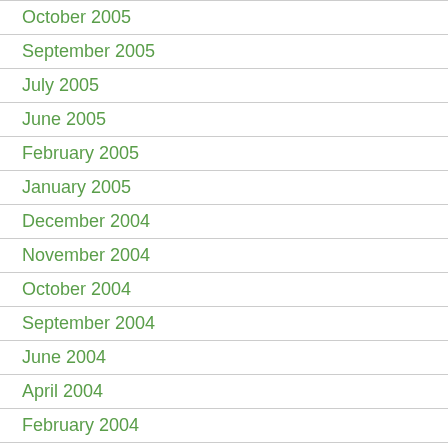October 2005
September 2005
July 2005
June 2005
February 2005
January 2005
December 2004
November 2004
October 2004
September 2004
June 2004
April 2004
February 2004